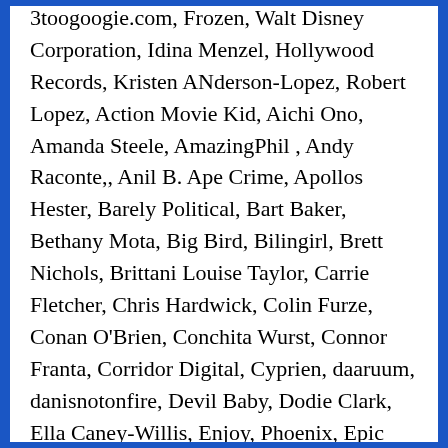3toogoogie.com, Frozen, Walt Disney Corporation, Idina Menzel, Hollywood Records, Kristen ANderson-Lopez, Robert Lopez, Action Movie Kid, Aichi Ono, Amanda Steele, AmazingPhil , Andy Raconte,, Anil B. Ape Crime, Apollos Hester, Barely Political, Bart Baker, Bethany Mota, Big Bird, Bilingirl, Brett Nichols, Brittani Louise Taylor, Carrie Fletcher, Chris Hardwick, Colin Furze, Conan O’Brien, Conchita Wurst, Connor Franta, Corridor Digital, Cyprien, daaruum, danisnotonfire, Devil Baby, Dodie Clark, Ella Caney-Willis, Enjoy, Phoenix, Epic Rap Battles, Evan Edinger, fouseyTUBE, Freddie W, Gabriel Valenciano, Gal Volinez, Grace Helbig, Hajime, Hannah Hart, Heart, Hello Denizen, Hikakin, HolaSoyGerman, How It Should Have Ended, IISuperwomanII, iJustine, Ingrid